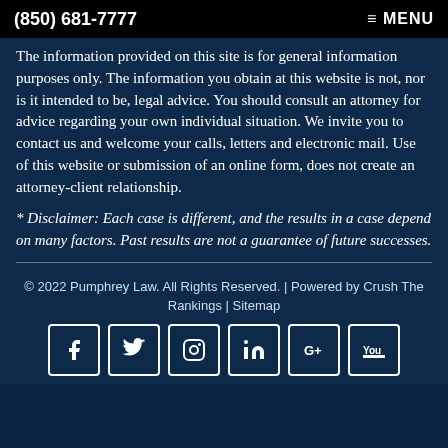(850) 681-7777  ≡ MENU
The information provided on this site is for general information purposes only. The information you obtain at this website is not, nor is it intended to be, legal advice. You should consult an attorney for advice regarding your own individual situation. We invite you to contact us and welcome your calls, letters and electronic mail. Use of this website or submission of an online form, does not create an attorney-client relationship.
* Disclaimer: Each case is different, and the results in a case depend on many factors. Past results are not a guarantee of future successes.
© 2022 Pumphrey Law. All Rights Reserved. | Powered by Crush The Rankings | Sitemap
[Figure (other): Social media icons: Facebook, Twitter, Instagram, LinkedIn, Google+, YouTube — white outlined squares with platform logos]